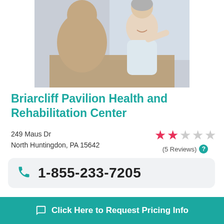[Figure (photo): Two elderly people at a table, one smiling and holding something, partially visible from behind]
Briarcliff Pavilion Health and Rehabilitation Center
249 Maus Dr
North Huntingdon, PA 15642
★★☆☆☆ (5 Reviews)
1-855-233-7205
Located at 249 Maus Dr in North Huntingdon, Pennsylvania, Briarcliff Pavilion Health and Rehabilitation Center is a 120 unit nursing facility. The surrounding area is home to a large retiree population, making it a popular choice for retirees in...
Click Here to Request Pricing Info